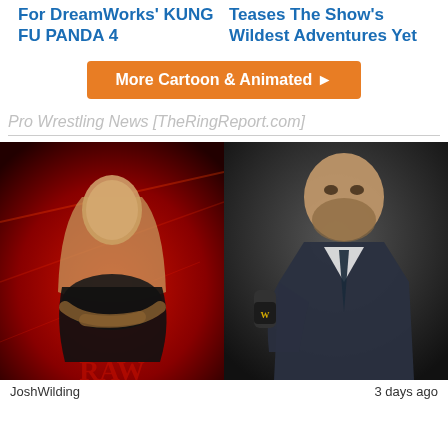For DreamWorks' KUNG FU PANDA 4
Teases The Show's Wildest Adventures Yet
More Cartoon & Animated ▶
Pro Wrestling News [TheRingReport.com]
[Figure (photo): Pro wrestler with long hair and muscular build in black tank top, arms crossed, against red dramatic background with arena lighting]
[Figure (photo): Man in dark suit speaking into a WWE microphone, close-up shot against dark background]
JoshWilding
3 days ago